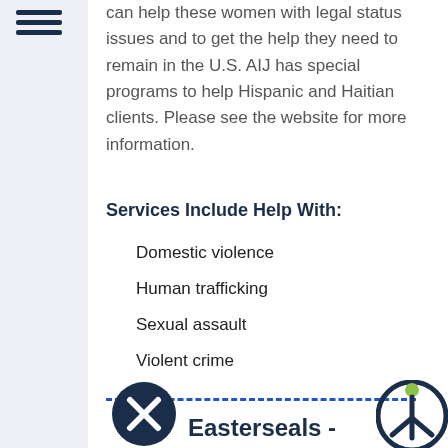can help these women with legal status issues and to get the help they need to remain in the U.S. AIJ has special programs to help Hispanic and Haitian clients. Please see the website for more information.
Services Include Help With:
Domestic violence
Human trafficking
Sexual assault
Violent crime
Easterseals -